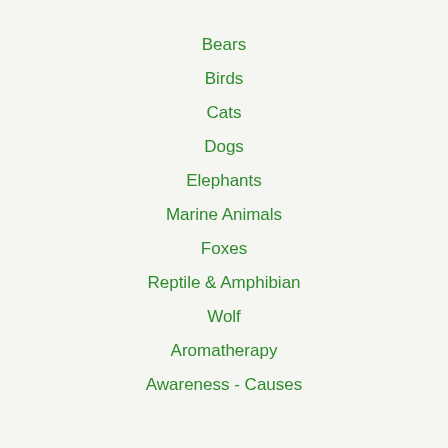Bears
Birds
Cats
Dogs
Elephants
Marine Animals
Foxes
Reptile & Amphibian
Wolf
Aromatherapy
Awareness - Causes